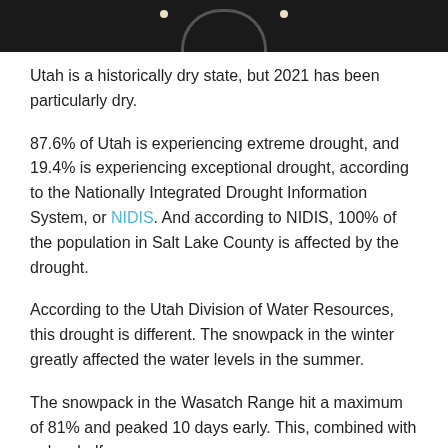[Figure (photo): Dark top banner image showing an architectural arch or doorway with two light fixtures visible against a dark background]
Utah is a historically dry state, but 2021 has been particularly dry.
87.6% of Utah is experiencing extreme drought, and 19.4% is experiencing exceptional drought, according to the Nationally Integrated Drought Information System, or NIDIS. And according to NIDIS, 100% of the population in Salt Lake County is affected by the drought.
According to the Utah Division of Water Resources, this drought is different. The snowpack in the winter greatly affected the water levels in the summer.
The snowpack in the Wasatch Range hit a maximum of 81% and peaked 10 days early. This, combined with only a half